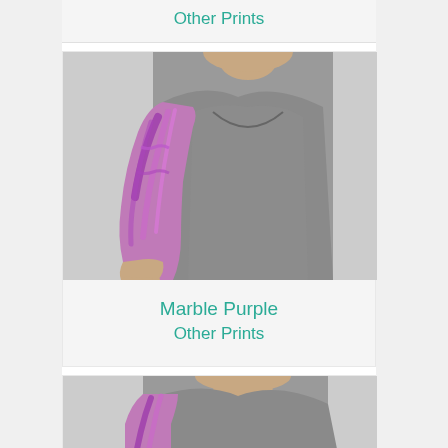Other Prints
[Figure (photo): Woman wearing a purple marble patterned compression arm sleeve, dressed in a gray tank top and gray shorts, shown from shoulder to thigh level]
Marble Purple
Other Prints
[Figure (photo): Partial view of woman wearing compression arm sleeve, gray tank top, cropped at bottom of page]